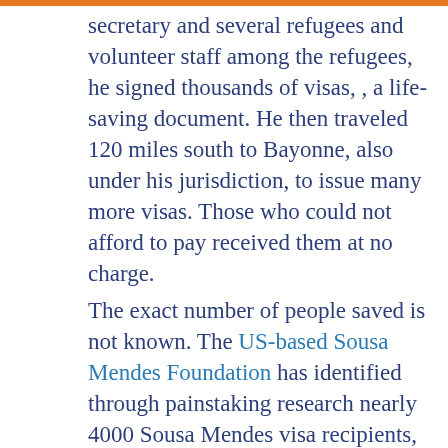secretary and several refugees and volunteer staff among the refugees, he signed thousands of visas, , a life-saving document. He then traveled 120 miles south to Bayonne, also under his jurisdiction, to issue many more visas. Those who could not afford to pay received them at no charge.
The exact number of people saved is not known. The US-based Sousa Mendes Foundation has identified through painstaking research nearly 4000 Sousa Mendes visa recipients, Jews and non-Jews, but the true number of visa recipients may be far higher. "It is perhaps the largest rescue action by a single individual during the Holocaust" says Israeli Holocaust historian Prof. Yehuda Bauer. Prominent visa recipients included members of the Rothschild